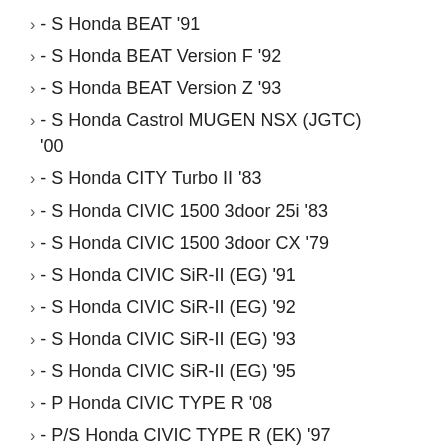> - S Honda BEAT '91
> - S Honda BEAT Version F '92
> - S Honda BEAT Version Z '93
> - S Honda Castrol MUGEN NSX (JGTC) '00
> - S Honda CITY Turbo II '83
> - S Honda CIVIC 1500 3door 25i '83
> - S Honda CIVIC 1500 3door CX '79
> - S Honda CIVIC SiR-II (EG) '91
> - S Honda CIVIC SiR-II (EG) '92
> - S Honda CIVIC SiR-II (EG) '93
> - S Honda CIVIC SiR-II (EG) '95
> - P Honda CIVIC TYPE R '08
> - P/S Honda CIVIC TYPE R (EK) '97
> - P Honda CIVIC TYPE R (EK) RM '97
> - S Honda CIVIC TYPE R (EK) '98
> - S Honda CIVIC TYPE R (EP) '01
> - S Honda CIVIC TYPE R (EP) '04
> - S Honda CIVIC TYPE R (EP EU) '01